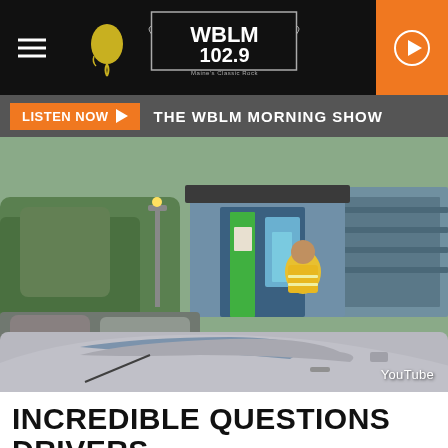[Figure (screenshot): WBLM 102.9 radio station website header with hamburger menu, balloon icon, WBLM 102.9 logo, and orange play button]
LISTEN NOW ▶   THE WBLM MORNING SHOW
[Figure (photo): Outdoor photo of a toll booth or parking booth with a worker in a yellow safety vest, a silver car in the foreground, trees and structures in background. YouTube watermark in bottom right.]
INCREDIBLE QUESTIONS DRIVERS